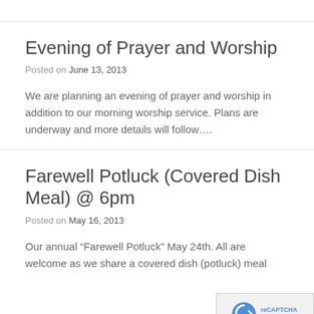Evening of Prayer and Worship
Posted on June 13, 2013
We are planning an evening of prayer and worship in addition to our morning worship service. Plans are underway and more details will follow….
Farewell Potluck (Covered Dish Meal) @ 6pm
Posted on May 16, 2013
Our annual “Farewell Potluck” May 24th. All are welcome as we share a covered dish (potluck) meal